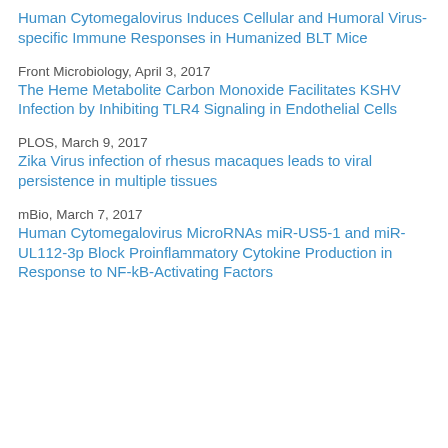Human Cytomegalovirus Induces Cellular and Humoral Virus-specific Immune Responses in Humanized BLT Mice
Front Microbiology, April 3, 2017
The Heme Metabolite Carbon Monoxide Facilitates KSHV Infection by Inhibiting TLR4 Signaling in Endothelial Cells
PLOS, March 9, 2017
Zika Virus infection of rhesus macaques leads to viral persistence in multiple tissues
mBio, March 7, 2017
Human Cytomegalovirus MicroRNAs miR-US5-1 and miR-UL112-3p Block Proinflammatory Cytokine Production in Response to NF-kB-Activating Factors